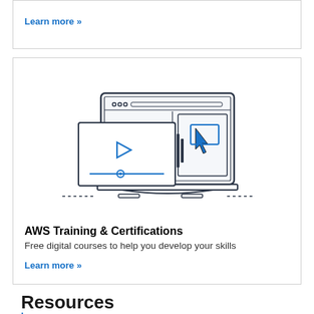Learn more »
[Figure (illustration): Line-art illustration of a laptop with a browser window open. In front of the laptop is a video player panel showing a play button and a progress bar slider. On the right side of the laptop screen is a cursor/pointer icon. Dashed lines extend horizontally from both sides at the bottom near the laptop base.]
AWS Training & Certifications
Free digital courses to help you develop your skills
Learn more »
Resources
Learn more »